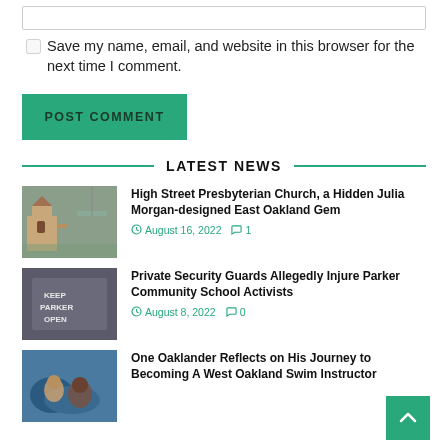[Figure (other): Empty text input box]
Save my name, email, and website in this browser for the next time I comment.
POST COMMENT
LATEST NEWS
[Figure (photo): Thumbnail photo of High Street Presbyterian Church building]
High Street Presbyterian Church, a Hidden Julia Morgan-designed East Oakland Gem
August 16, 2022   1
[Figure (photo): Thumbnail photo of Keep Parker Open sign]
Private Security Guards Allegedly Injure Parker Community School Activists
August 8, 2022   0
[Figure (photo): Thumbnail photo of swimmer in pool]
One Oaklander Reflects on His Journey to Becoming A West Oakland Swim Instructor